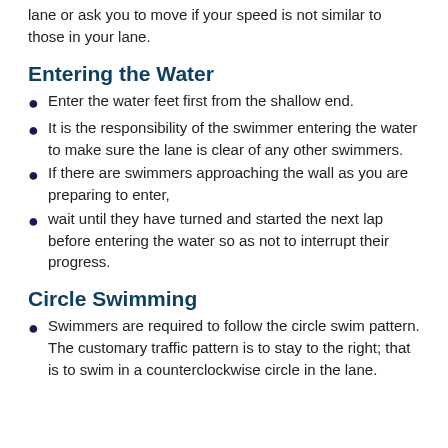lane or ask you to move if your speed is not similar to those in your lane.
Entering the Water
Enter the water feet first from the shallow end.
It is the responsibility of the swimmer entering the water to make sure the lane is clear of any other swimmers.
If there are swimmers approaching the wall as you are preparing to enter,
wait until they have turned and started the next lap before entering the water so as not to interrupt their progress.
Circle Swimming
Swimmers are required to follow the circle swim pattern. The customary traffic pattern is to stay to the right; that is to swim in a counterclockwise circle in the lane.